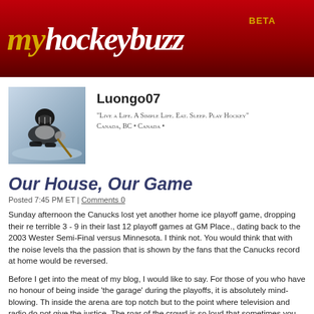myhockeybuzz BETA
[Figure (photo): Hockey player (goalie) on ice, profile photo for user Luongo07]
Luongo07
"Live a Life. A Simple Life. Eat. Sleep. Play Hockey"
Canada, BC • Canada •
Our House, Our Game
Posted 7:45 PM ET | Comments 0
Sunday afternoon the Canucks lost yet another home ice playoff game, dropping their record to a terrible 3 - 9 in their last 12 playoff games at GM Place., dating back to the 2003 Western Semi-Final versus Minnesota. I think not. You would think that with the noise levels that and the passion that is shown by the fans that the Canucks record at home would be reversed.
Before I get into the meat of my blog, I would like to say. For those of you who have not had the honour of being inside 'the garage' during the playoffs, it is absolutely mind-blowing. The sounds inside the arena are top notch but to the point where television and radio do not give them justice. The roar of the crowd is so loud that sometimes you can't even hear your own so. The television production on CBC this past Sunday did do a pretty good job of capturing the energy of the crowd but then Luongo made a gaff and the Ducks netted an easy goal.